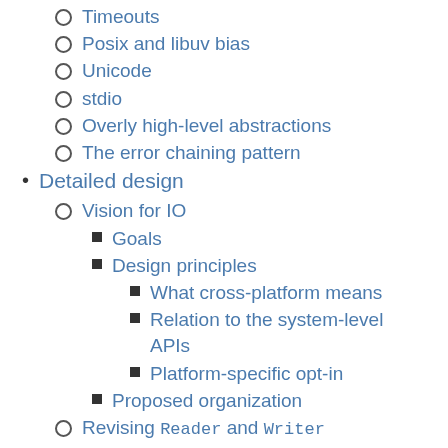Timeouts
Posix and libuv bias
Unicode
stdio
Overly high-level abstractions
The error chaining pattern
Detailed design
Vision for IO
Goals
Design principles
What cross-platform means
Relation to the system-level APIs
Platform-specific opt-in
Proposed organization
Revising Reader and Writer
Read
Write
String handling
Key observations